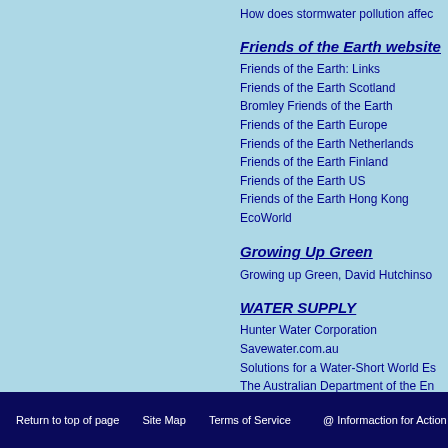How does stormwater pollution affec
Friends of the Earth website
Friends of the Earth: Links
Friends of the Earth Scotland
Bromley Friends of the Earth
Friends of the Earth Europe
Friends of the Earth Netherlands
Friends of the Earth Finland
Friends of the Earth US
Friends of the Earth Hong Kong
EcoWorld
Growing Up Green
Growing up Green, David Hutchinso
WATER SUPPLY
Hunter Water Corporation
Savewater.com.au
Solutions for a Water-Short World Es
The Australian Department of the En
Global Water Partnership
Coastal and marine pollution
The World's Water
Return to top of page   Site Map   Terms of Service   @ Informaction for Action 2015